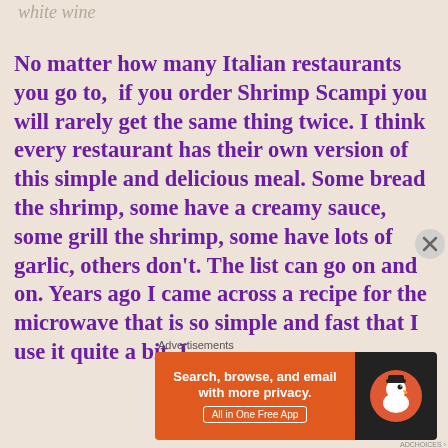white wine
No matter how many Italian restaurants you go to,  if you order Shrimp Scampi you will rarely get the same thing twice. I think every restaurant has their own version of this simple and delicious meal. Some bread the shrimp, some have a creamy sauce, some grill the shrimp, some have lots of garlic, others don't. The list can go on and on. Years ago I came across a recipe for the microwave that is so simple and fast that I use it quite a bit. I
Advertisements
[Figure (other): DuckDuckGo advertisement banner with orange background on left reading 'Search, browse, and email with more privacy. All in One Free App' and dark background on right with DuckDuckGo duck logo]